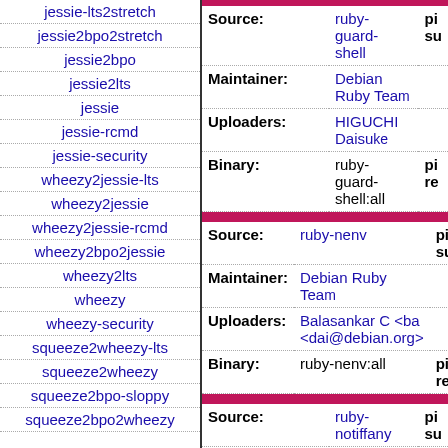jessie-lts2stretch
jessie2bpo2stretch
jessie2bpo
jessie2lts
jessie
jessie-rcmd
jessie-security
wheezy2jessie-lts
wheezy2jessie
wheezy2jessie-rcmd
wheezy2bpo2jessie
wheezy2lts
wheezy
wheezy-security
squeeze2wheezy-lts
squeeze2wheezy
squeeze2bpo-sloppy
squeeze2bpo2wheezy
ru (truncated)
| Field | Value | Extra |
| --- | --- | --- |
| Source: | ruby-guard-shell | pi... su... |
| Maintainer: | Debian Ruby Team |  |
| Uploaders: | HIGUCHI Daisuke... |  |
| Binary: | ruby-guard-shell:all | pi... re... |
ru (truncated)
| Field | Value | Extra |
| --- | --- | --- |
| Source: | ruby-nenv | pi... su... |
| Maintainer: | Debian Ruby Team |  |
| Uploaders: | Balasankar C <ba... <dai@debian.org>... |  |
| Binary: | ruby-nenv:all | pi... re... |
ru (truncated)
| Field | Value | Extra |
| --- | --- | --- |
| Source: | ruby-notiffany | pi... su... |
| Maintainer: | Debian Ruby Team |  |